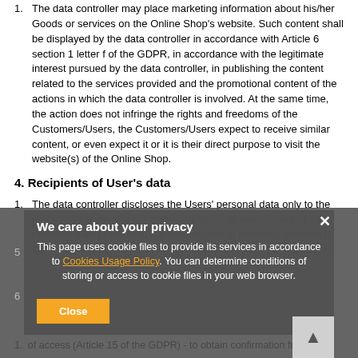The data controller may place marketing information about his/her Goods or services on the Online Shop's website. Such content shall be displayed by the data controller in accordance with Article 6 section 1 letter f of the GDPR, in accordance with the legitimate interest pursued by the data controller, in publishing the content related to the services provided and the promotional content of the actions in which the data controller is involved. At the same time, the action does not infringe the rights and freedoms of the Customers/Users, the Customers/Users expect to receive similar content, or even expect it or it is their direct purpose to visit the website(s) of the Online Shop.
4. Recipients of User's data
The data controller discloses the Users' personal data only to the processors under the concluded contracts of entrustment of personal data processing, for the purpose of providing services to the Administrator, e.g. hosting and maintenance of the website, IT...
We care about your privacy
This page uses cookie files to provide its services in accordance to Cookies Usage Policy. You can determine conditions of storing or access to cookie files in your web browser.
Close
of access (Article 15 of the GDPR) - to obtain confirmation from